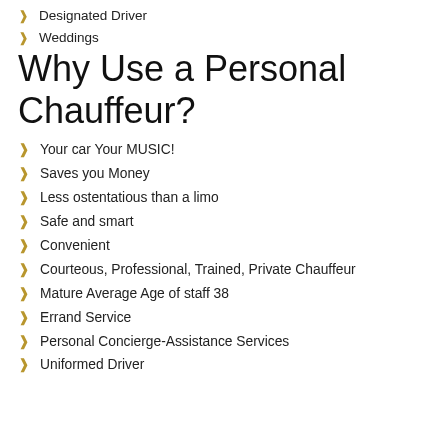Designated Driver
Weddings
Why Use a Personal Chauffeur?
Your car Your MUSIC!
Saves you Money
Less ostentatious than a limo
Safe and smart
Convenient
Courteous, Professional, Trained, Private Chauffeur
Mature Average Age of staff 38
Errand Service
Personal Concierge-Assistance Services
Uniformed Driver